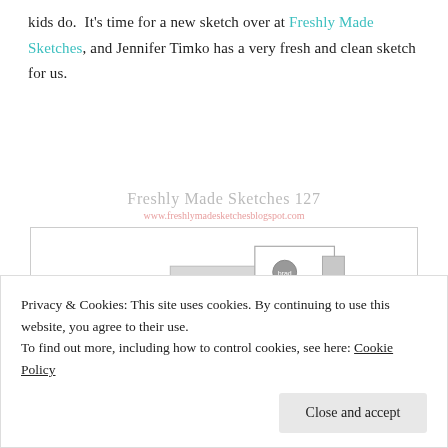kids do. It's time for a new sketch over at Freshly Made Sketches, and Jennifer Timko has a very fresh and clean sketch for us.
[Figure (illustration): Freshly Made Sketches 127 card layout sketch showing a white background with two overlapping rectangles (one grey, one white with a circular brad/button element) positioned to the right-center of the card outline. Title reads 'Freshly Made Sketches 127' with URL 'www.freshlymadesketchesblogspot.com']
Privacy & Cookies: This site uses cookies. By continuing to use this website, you agree to their use.
To find out more, including how to control cookies, see here: Cookie Policy
Close and accept